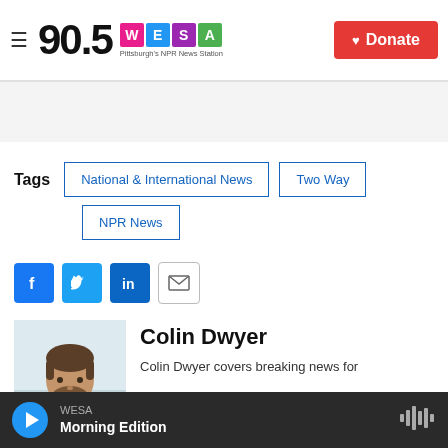90.5 WESA Pittsburgh's NPR News Station | Donate
Tags
National & International News
Two Way
NPR News
[Figure (infographic): Social share icons: Facebook, Twitter, LinkedIn, Email]
[Figure (photo): Headshot of Colin Dwyer]
Colin Dwyer
Colin Dwyer covers breaking news for
WESA Morning Edition (audio player bar)